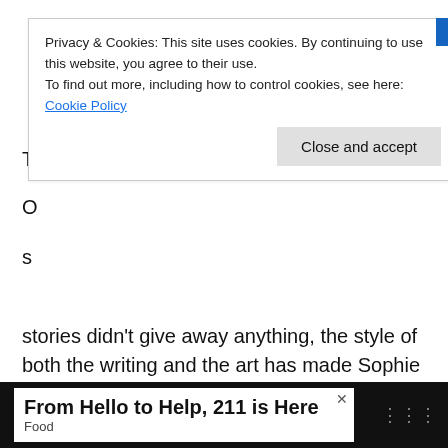Privacy & Cookies: This site uses cookies. By continuing to use this website, you agree to their use. To find out more, including how to control cookies, see here: Cookie Policy
Close and accept
stories didn't give away anything, the style of both the writing and the art has made Sophie even more excited to finally get her hands on issue one next month.
TITLE: Mystery Girl Volume 1
PUBLISHER: Dark Horse Comics
[Figure (photo): Mystery Girl Volume 1, Image: Dark Horse book cover placeholder]
WRI... Tobo...